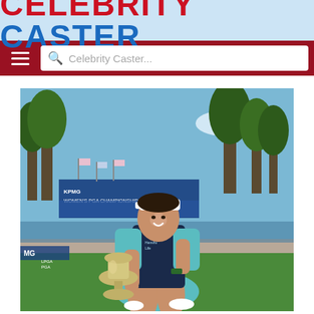CELEBRITY CASTER
[Figure (screenshot): Website navigation bar with hamburger menu and search box reading 'Celebrity Caster...']
[Figure (photo): A female golfer in teal and navy outfit wearing a white visor with 'CELLS' branding, posing with a large silver trophy at the KPMG Women's PGA Championship. Trees and a water feature visible in background.]